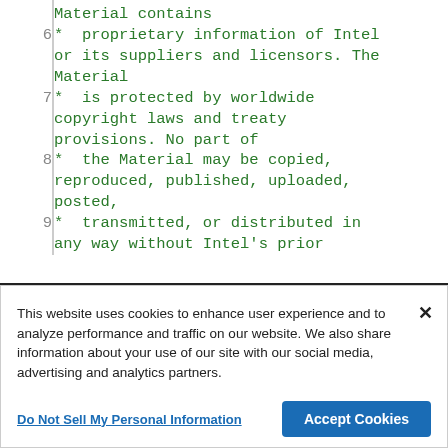Material contains
6  *  proprietary information of Intel or its suppliers and licensors. The Material
7  *  is protected by worldwide copyright laws and treaty provisions. No part of
8  *  the Material may be copied, reproduced, published, uploaded, posted,
9  *  transmitted, or distributed in any way without Intel's prior
This website uses cookies to enhance user experience and to analyze performance and traffic on our website. We also share information about your use of our site with our social media, advertising and analytics partners.
Do Not Sell My Personal Information
Accept Cookies